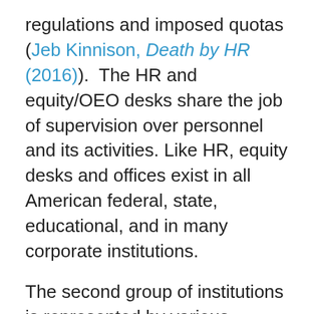regulations and imposed quotas (Jeb Kinnison, Death by HR (2016).  The HR and equity/OEO desks share the job of supervision over personnel and its activities. Like HR, equity desks and offices exist in all American federal, state, educational, and in many corporate institutions.
The second group of institutions is represented by various Multicultural desks and offices that are specialized in popularizing non-Western cultures and lifestyles by organizing, for example, various ethnic, racial, and gender festivals and fairs. These cultural events are usually f... [continues]